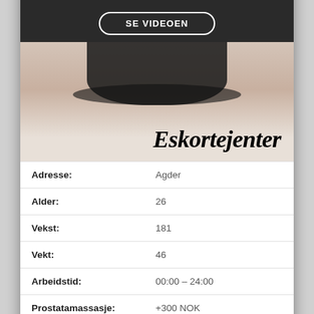Jenter Med Video
[Figure (screenshot): Button labeled 'SE VIDEOEN' with rounded border on dark background]
[Figure (photo): Photo of person on white bed wearing black lace lingerie, with large bold italic text overlay 'Eskortejenter']
| Adresse: | Agder |
| Alder: | 26 |
| Vekst: | 181 |
| Vekt: | 46 |
| Arbeidstid: | 00:00 – 24:00 |
| Prostatamassasje: | +300 NOK |
| Services: | Drikkevarer, Bondage / |